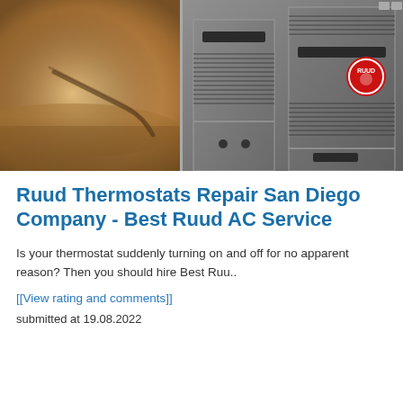[Figure (photo): Split image: left side shows a blurred warm-toned interior scene with wooden surfaces; right side shows two gray Ruud HVAC furnace units side by side with a Ruud brand logo badge on the right unit.]
Ruud Thermostats Repair San Diego Company - Best Ruud AC Service
Is your thermostat suddenly turning on and off for no apparent reason? Then you should hire Best Ruu..
[[View rating and comments]]
submitted at 19.08.2022